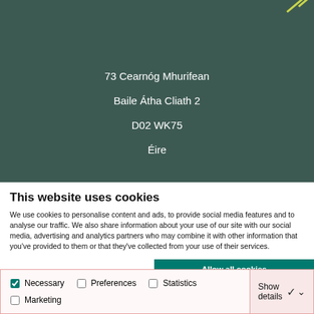[Figure (other): Dark green header banner with decorative accent]
73 Cearnóg Mhurifean
Baile Átha Cliath 2
D02 WK75
Éire
This website uses cookies
We use cookies to personalise content and ads, to provide social media features and to analyse our traffic. We also share information about your use of our site with our social media, advertising and analytics partners who may combine it with other information that you've provided to them or that they've collected from your use of their services.
Allow all cookies
Allow selection
Use necessary cookies only
Necessary  Preferences  Statistics  Marketing  Show details